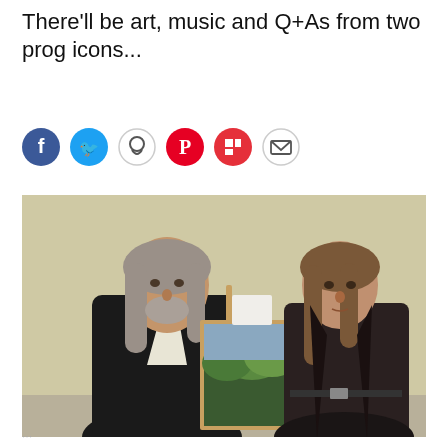There'll be art, music and Q+As from two prog icons...
[Figure (infographic): Row of six social media sharing icons: Facebook (blue circle), Twitter (cyan circle), WhatsApp (white/grey circle), Pinterest (red circle), Flipboard (red circle), Email (white/grey circle)]
[Figure (photo): Two men with long grey/brown hair standing in front of a framed landscape painting on an easel. The man on the left wears a studded black jacket, the man on the right wears a dark leather jacket. Background is a pale yellow/beige wall.]
...